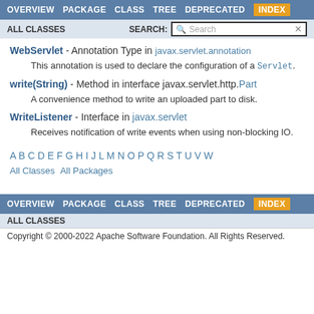OVERVIEW  PACKAGE  CLASS  TREE  DEPRECATED  INDEX
ALL CLASSES   SEARCH: Search
WebServlet - Annotation Type in javax.servlet.annotation
This annotation is used to declare the configuration of a Servlet.
write(String) - Method in interface javax.servlet.http.Part
A convenience method to write an uploaded part to disk.
WriteListener - Interface in javax.servlet
Receives notification of write events when using non-blocking IO.
A B C D E F G H I J L M N O P Q R S T U V W
All Classes  All Packages
OVERVIEW  PACKAGE  CLASS  TREE  DEPRECATED  INDEX
ALL CLASSES
Copyright © 2000-2022 Apache Software Foundation. All Rights Reserved.